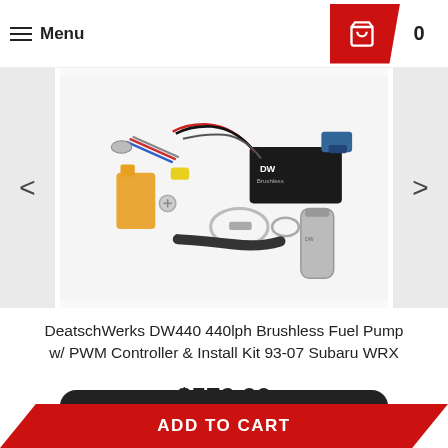Menu | Cart 0
[Figure (photo): DeatschWerks DW440 brushless fuel pump kit product photo showing fuel pump, PWM controller module, wiring harness, clamps, filter, and installation accessories on white background]
DeatschWerks DW440 440lph Brushless Fuel Pump w/ PWM Controller & Install Kit 93-07 Subaru WRX
$579.00
Questions? We can help. Chat with us now.
ADD TO CART